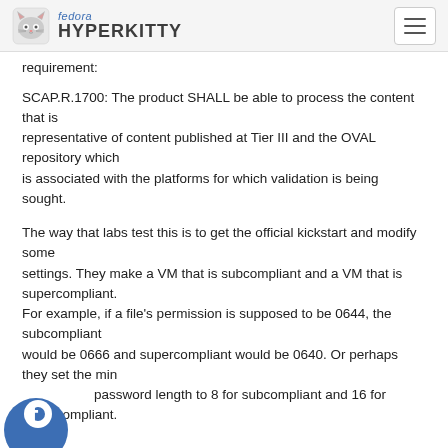fedora HYPERKITTY
requirement:
SCAP.R.1700: The product SHALL be able to process the content that is representative of content published at Tier III and the OVAL repository which is associated with the platforms for which validation is being sought.
The way that labs test this is to get the official kickstart and modify some settings. They make a VM that is subcompliant and a VM that is supercompliant.
For example, if a file's permission is supposed to be 0644, the subcompliant
would be 0666 and supercompliant would be 0640. Or perhaps they set the min
password length to 8 for subcompliant and 16 for supercompliant.
[Figure (logo): Fedora circular logo badge in bottom left corner]